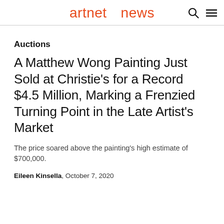artnet news
Auctions
A Matthew Wong Painting Just Sold at Christie's for a Record $4.5 Million, Marking a Frenzied Turning Point in the Late Artist's Market
The price soared above the painting's high estimate of $700,000.
Eileen Kinsella, October 7, 2020